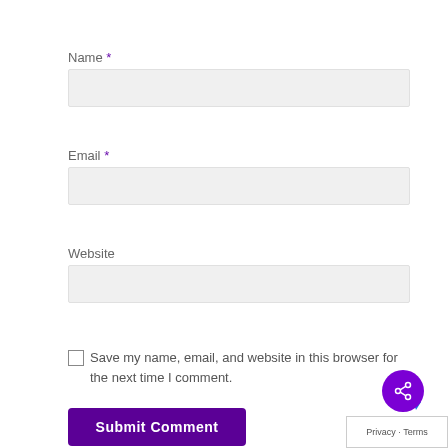Name *
Email *
Website
Save my name, email, and website in this browser for the next time I comment.
Submit Comment
Privacy · Terms